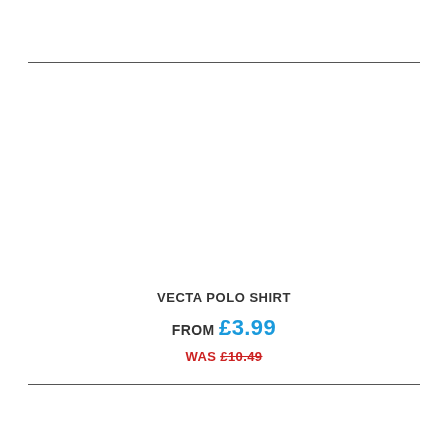VECTA POLO SHIRT
FROM £3.99
WAS £10.49